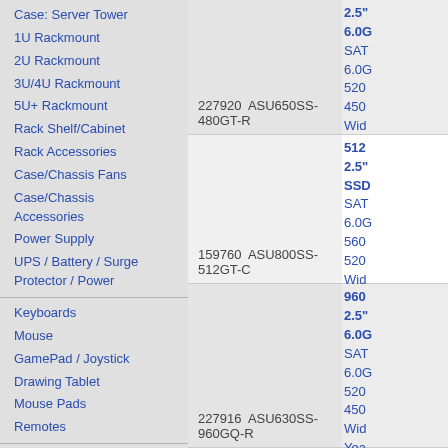Case: Server Tower
1U Rackmount
2U Rackmount
3U/4U Rackmount
5U+ Rackmount
Rack Shelf/Cabinet
Rack Accessories
Case/Chassis Fans
Case/Chassis Accessories
Power Supply
UPS / Battery / Surge Protector / Power
Keyboards
Mouse
GamePad / Joystick
Drawing Tablet
Mouse Pads
Remotes
Software: OS
Software: Application
Software: AntiVirus
| ID | Model | Specs |
| --- | --- | --- |
| 227920 | ASU650SS-480GT-R | 2.5", 6.0G, SAT, 6.0G, 520, 450, Wid, Yea, Mfg |
| 159760 | ASU800SS-512GT-C | 512, 2.5", SSD, SAT, 6.0G, 560, 520, Wid, Yea, Mfg |
| 227916 | ASU630SS-960GQ-R | 960, 2.5", 6.0G, SAT, 6.0G, 520, 450, Wid, Yea, Mfg, 1TB |